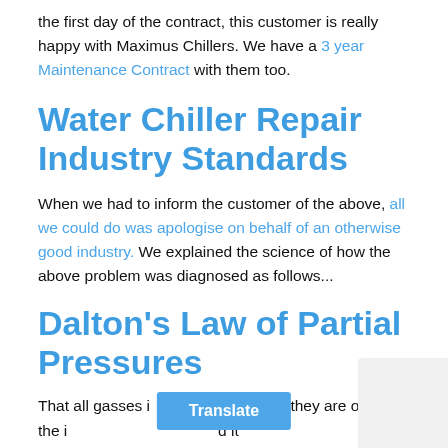the first day of the contract, this customer is really happy with Maximus Chillers. We have a 3 year Maintenance Contract with them too.
Water Chiller Repair Industry Standards
When we had to inform the customer of the above, all we could do was apologise on behalf of an otherwise good industry. We explained the science of how the above problem was diagnosed as follows...
Dalton's Law of Partial Pressures
That all gasses i… as if they are on the…